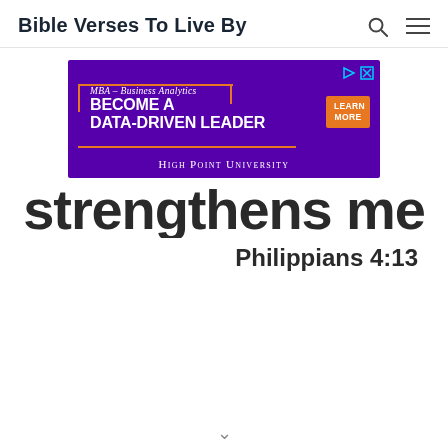Bible Verses To Live By
[Figure (other): Advertisement banner for High Point University MBA Business Analytics program. Purple background with text: MBA – Business Analytics, BECOME A DATA-DRIVEN LEADER, LEARN MORE button, HIGH POINT UNIVERSITY]
strengthens me
Philippians 4:13